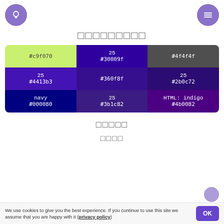[Figure (other): Lightbulb icon in purple circle (top left)]
[Figure (other): Hamburger menu icon in purple circle (top right)]
□□□□□□□□□
| #c9f070 | 25 #30009f | #4f4f4f |
| --- | --- | --- |
| 25 #4413b3 | #360f8f | 25 #2b0c72 |
| navy #000080 | 25 #3b1c82 | HTML: indigo #4b0082 |
□□□□□
□□□□
We use cookies to give you the best experience. If you continue to use this site we assume that you are happy with it (privacy policy)